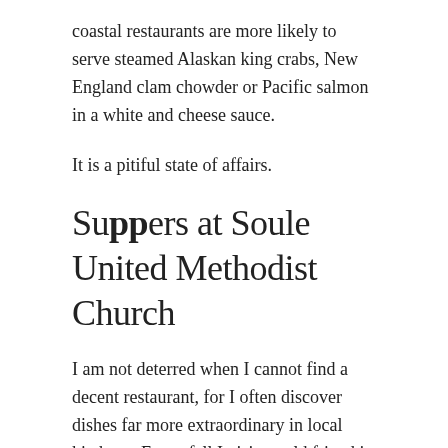coastal restaurants are more likely to serve steamed Alaskan king crabs, New England clam chowder or Pacific salmon in a white and cheese sauce.
It is a pitiful state of affairs.
Suppers at Soule United Methodist Church
I am not deterred when I cannot find a decent restaurant, for I often discover dishes far more extraordinary in local kitchens. Every fall I visit an old friend in little Washington who always seems to keep a delicious venison stew waiting for me. I visit Vera and Guy's great-great aunt in Beaufort